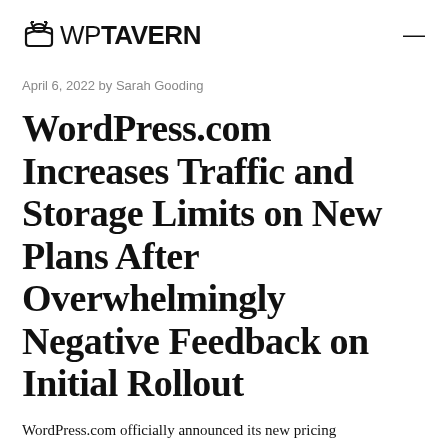WP TAVERN
April 6, 2022 by Sarah Gooding
WordPress.com Increases Traffic and Storage Limits on New Plans After Overwhelmingly Negative Feedback on Initial Rollout
WordPress.com officially announced its new pricing